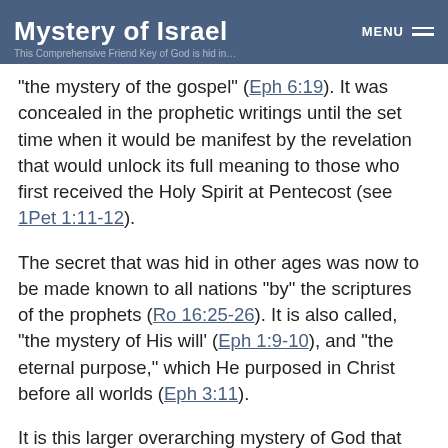Mystery of Israel  MENU
“the mystery of the gospel” (Eph 6:19). It was concealed in the prophetic writings until the set time when it would be manifest by the revelation that would unlock its full meaning to those who first received the Holy Spirit at Pentecost (see 1Pet 1:11-12).
The secret that was hid in other ages was now to be made known to all nations “by” the scriptures of the prophets (Ro 16:25-26). It is also called, “the mystery of His will’ (Eph 1:9-10), and “the eternal purpose,” which He purposed in Christ before all worlds (Eph 3:11).
It is this larger overarching mystery of God that forms the background and context for the